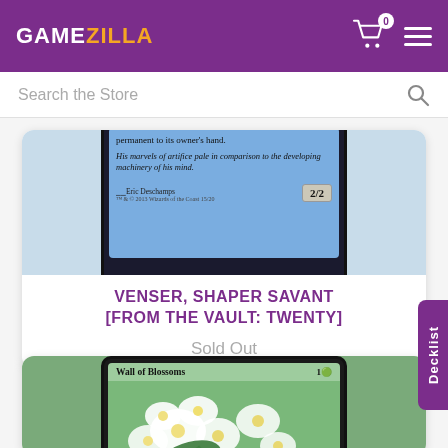GAMEZILLA
Search the Store
[Figure (photo): Magic: The Gathering card - Venser, Shaper Savant from From the Vault: Twenty. Card shows text about returning a permanent to owner's hand and flavor text. Illustrated by Eric Deschamps. 2/2 creature.]
VENSER, SHAPER SAVANT [FROM THE VAULT: TWENTY]
Sold Out
[Figure (photo): Magic: The Gathering card - Wall of Blossoms. Green/white card with cost 1G. Illustration shows large white flowers (blossoms) with a figure's hands visible among the foliage.]